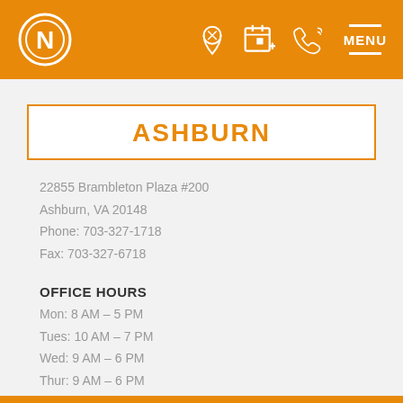N [logo] | [location icon] [calendar icon] [phone icon] MENU
ASHBURN
22855 Brambleton Plaza #200
Ashburn, VA 20148
Phone: 703-327-1718
Fax: 703-327-6718
OFFICE HOURS
Mon: 8 AM – 5 PM
Tues: 10 AM – 7 PM
Wed: 9 AM – 6 PM
Thur: 9 AM – 6 PM
Fri: 8 AM – 5 PM